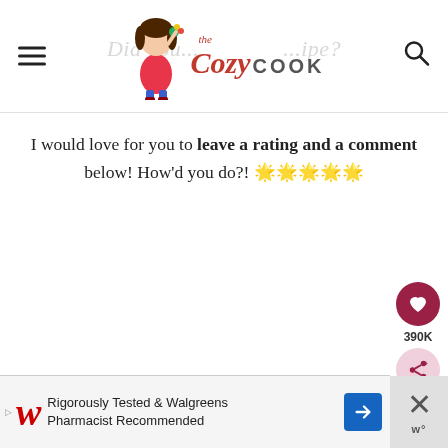The Cozy Cook
I would love for you to leave a rating and a comment below! How'd you do?! 🌟🌟🌟🌟🌟
[Figure (infographic): Heart/save button showing 390K saves, and a share button]
[Figure (infographic): Advertisement banner: Walgreens - Rigorously Tested & Walgreens Pharmacist Recommended]